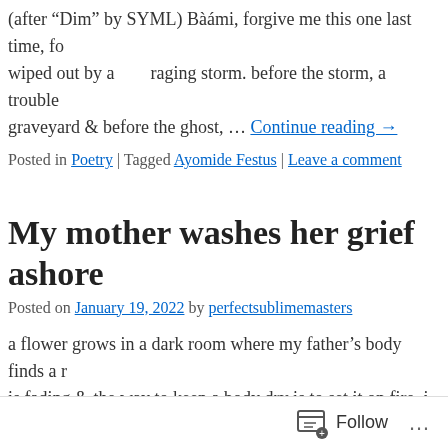(after “Dim” by SYML) Bàámi, forgive me this one last time, fo wiped out by a raging storm. before the storm, a troubled graveyard & before the ghost, … Continue reading →
Posted in Poetry | Tagged Ayomide Festus | Leave a comment
My mother washes her grief ashore
Posted on January 19, 2022 by perfectsublimemasters
a flower grows in a dark room where my father’s body finds a r is fading & the way to keep a body dry is to set it on fire. i wake reading →
Posted in Poetry | Tagged Ayomide Festus | 1 Comment
A test for absence using my father & a wi
Posted on January 18, 2022 by perfectsublimemasters